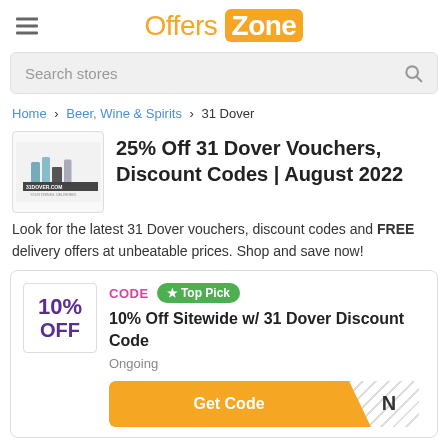Offers Zone
Search stores
Home › Beer, Wine & Spirits › 31 Dover
25% Off 31 Dover Vouchers, Discount Codes | August 2022
Look for the latest 31 Dover vouchers, discount codes and FREE delivery offers at unbeatable prices. Shop and save now!
CODE  ★ Top Pick
10% Off Sitewide w/ 31 Dover Discount Code
Ongoing
Get Code  N